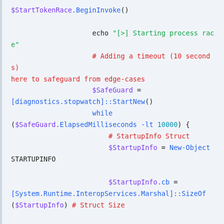[Figure (screenshot): PowerShell code snippet showing token race logic with SafeGuard stopwatch, StartupInfo struct, ProcessInfo struct, and CreateProcessWithLogonW comment. Syntax-highlighted code on light blue background.]